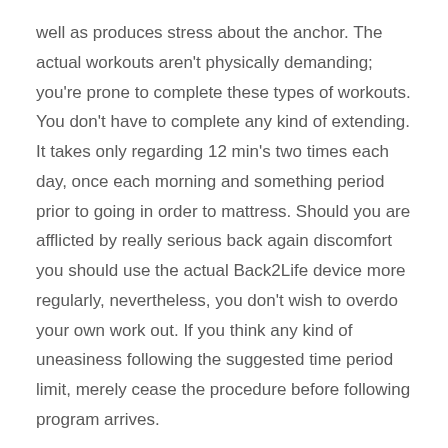well as produces stress about the anchor. The actual workouts aren't physically demanding; you're prone to complete these types of workouts. You don't have to complete any kind of extending. It takes only regarding 12 min's two times each day, once each morning and something period prior to going in order to mattress. Should you are afflicted by really serious back again discomfort you should use the actual Back2Life device more regularly, nevertheless, you don't wish to overdo your own work out. If you think any kind of uneasiness following the suggested time period limit, merely cease the procedure before following program arrives.
The product may be obtaining superb evaluations following the work out numerous statement sensation charged up again, much more notify, as well as calm.